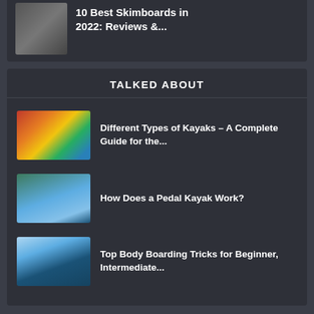[Figure (photo): Person in wetsuit holding a surfboard]
10 Best Skimboards in 2022: Reviews &...
TALKED ABOUT
[Figure (photo): Colorful kayaks stacked on a rack]
Different Types of Kayaks – A Complete Guide for the...
[Figure (photo): Person riding a pedal kayak on water]
How Does a Pedal Kayak Work?
[Figure (photo): Two people body boarding on a wave]
Top Body Boarding Tricks for Beginner, Intermediate...